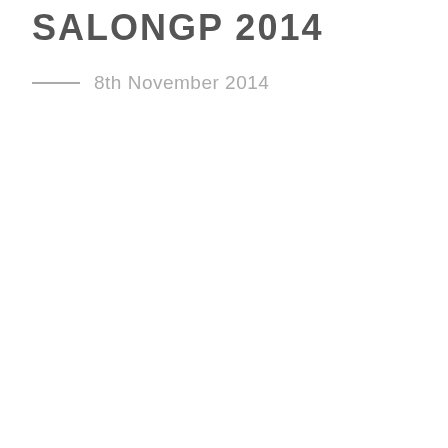SALONGP 2014
8th November 2014